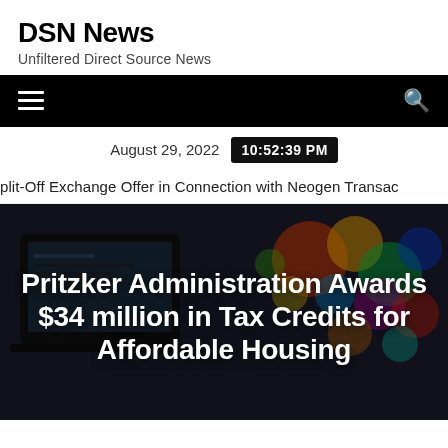DSN News
Unfiltered Direct Source News
August 29, 2022  10:52:39 PM
plit-Off Exchange Offer in Connection with Neogen Transac
[Figure (photo): Background photo of a laptop with colorful bokeh lights, overlaid with bold white headline text: Pritzker Administration Awards $34 million in Tax Credits for Affordable Housing]
Pritzker Administration Awards $34 million in Tax Credits for Affordable Housing